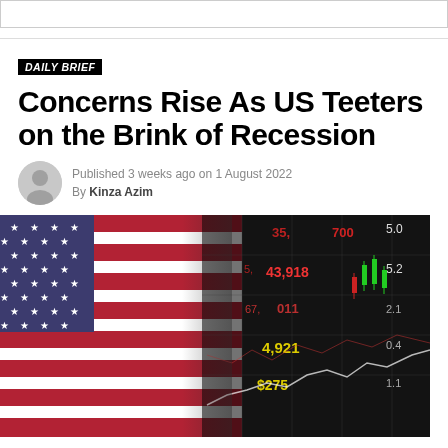DAILY BRIEF
Concerns Rise As US Teeters on the Brink of Recession
Published 3 weeks ago on 1 August 2022
By Kinza Azim
[Figure (photo): American flag overlaid with stock market ticker data showing numbers including 43,918, 67, 4,921, $275, with red and green candlestick chart indicators on a dark background]